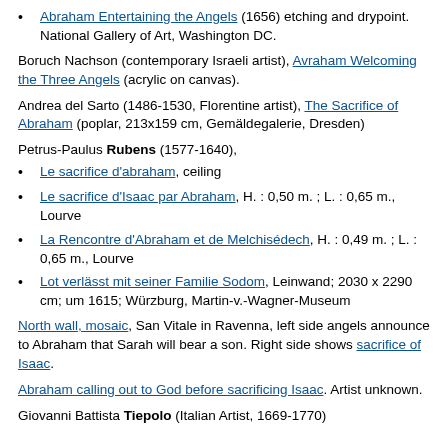Abraham Entertaining the Angels (1656) etching and drypoint. National Gallery of Art, Washington DC.
Boruch Nachson (contemporary Israeli artist), Avraham Welcoming the Three Angels (acrylic on canvas).
Andrea del Sarto (1486-1530, Florentine artist), The Sacrifice of Abraham (poplar, 213x159 cm, Gemäldegalerie, Dresden)
Petrus-Paulus Rubens (1577-1640),
Le sacrifice d'abraham, ceiling
Le sacrifice d'Isaac par Abraham, H. : 0,50 m. ; L. : 0,65 m., Lourve
La Rencontre d'Abraham et de Melchisédech, H. : 0,49 m. ; L. : 0,65 m., Lourve
Lot verlässt mit seiner Familie Sodom, Leinwand; 2030 x 2290 cm; um 1615; Würzburg, Martin-v.-Wagner-Museum
North wall, mosaic, San Vitale in Ravenna, left side angels announce to Abraham that Sarah will bear a son. Right side shows sacrifice of Isaac.
Abraham calling out to God before sacrificing Isaac. Artist unknown.
Giovanni Battista Tiepolo (Italian Artist, 1669-1770)